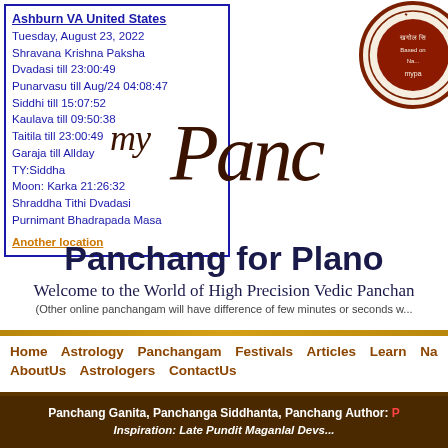Ashburn VA United States
Tuesday, August 23, 2022
Shravana Krishna Paksha
Dvadasi till 23:00:49
Punarvasu till Aug/24 04:08:47
Siddhi till 15:07:52
Kaulava till 09:50:38
Taitila till 23:00:49
Garaja till Allday
TY:Siddha
Moon: Karka 21:26:32
Shraddha Tithi Dvadasi
Purnimant Bhadrapada Masa
Another location
[Figure (logo): Circular logo with Hindi text and decorative border, dark red on cream background]
[Figure (illustration): Stylized cursive script reading 'myPanc' in dark brown]
Panchang for Plano
Welcome to the World of High Precision Vedic Panchangam
(Other online panchangam will have difference of few minutes or seconds w...
Home  Astrology  Panchangam  Festivals  Articles  Learn  Nakshatras  Muhurth
AboutUs  Astrologers  ContactUs
Panchang Ganita, Panchanga Siddhanta, Panchang Author: P...
Inspiration: Late Pundit Maganlal Devs...